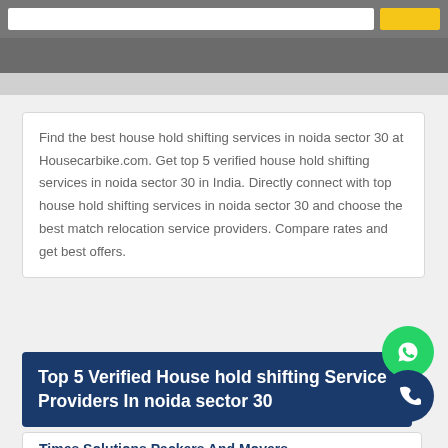[Figure (screenshot): Top navigation bar with search field and yellow button]
Find the best house hold shifting services in noida sector 30 at Housecarbike.com. Get top 5 verified house hold shifting services in noida sector 30 in India. Directly connect with top house hold shifting services in noida sector 30 and choose the best match relocation service providers. Compare rates and get best offers.
[Figure (logo): WhatsApp icon button (green circle)]
[Figure (logo): Phone icon button (dark blue circle)]
Top 5 Verified House hold shifting Service Providers In noida sector 30
Times Solutions Packers And Movers